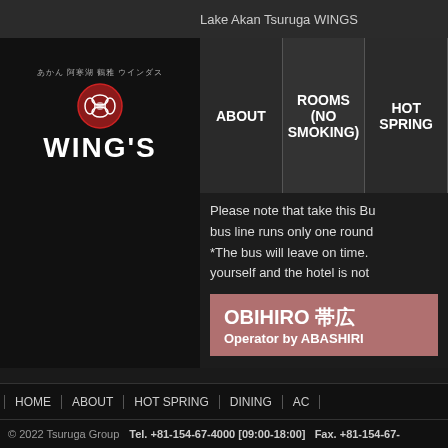Lake Akan Tsuruga WINGS
[Figure (logo): WINGS hotel logo with Japanese text and decorative red emblem]
ABOUT
ROOMS (NO SMOKING)
HOT SPRING
Please note that take this Bu bus line runs only one round *The bus will leave on time. yourself and the hotel is not
OBIHIRO 帯広 Operator by ABASHIRI
[ Route ] Obihiro - JR IK
[ Operating Date ] until
[NOTICE]
1. Taking MARIMO Expre
HOME | ABOUT | HOT SPRING | DINING | AC
© 2022 Tsuruga Group   Tel. +81-154-67-4000 [09:00-18:00]   Fax. +81-154-67-